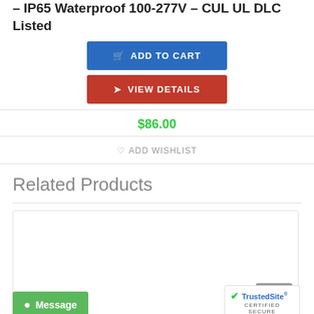– IP65 Waterproof 100-277V – CUL UL DLC Listed
ADD TO CART
VIEW DETAILS
$86.00
ADD WISHLIST
Related Products
[Figure (other): Empty product card placeholder with scroll button]
Message
TrustedSite CERTIFIED SECURE